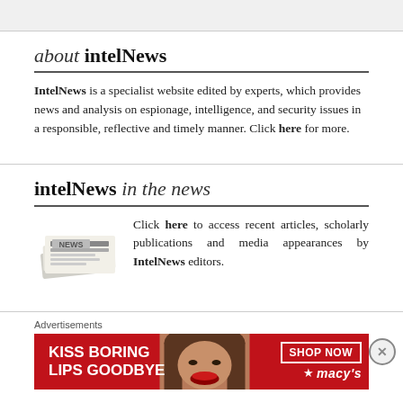about intelNews
IntelNews is a specialist website edited by experts, which provides news and analysis on espionage, intelligence, and security issues in a responsible, reflective and timely manner. Click here for more.
intelNews in the news
[Figure (illustration): Stack of newspapers]
Click here to access recent articles, scholarly publications and media appearances by IntelNews editors.
Advertisements
[Figure (photo): Macy's advertisement banner: KISS BORING LIPS GOODBYE with SHOP NOW button and Macy's logo, woman with red lips]